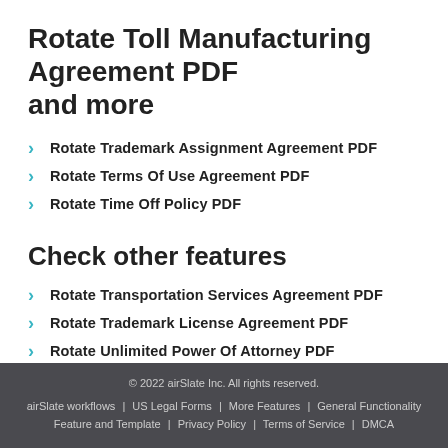Rotate Toll Manufacturing Agreement PDF and more
Rotate Trademark Assignment Agreement PDF
Rotate Terms Of Use Agreement PDF
Rotate Time Off Policy PDF
Check other features
Rotate Transportation Services Agreement PDF
Rotate Trademark License Agreement PDF
Rotate Unlimited Power Of Attorney PDF
© 2022 airSlate Inc. All rights reserved. | airSlate workflows | US Legal Forms | More Features | General Functionality | Feature and Template | Privacy Policy | Terms of Service | DMCA